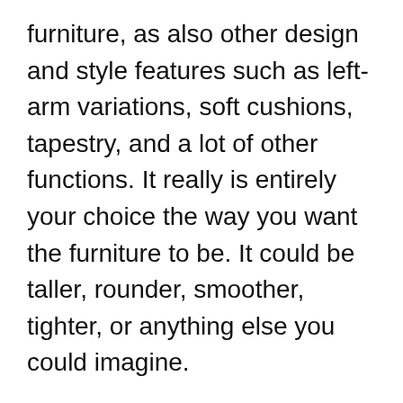furniture, as also other design and style features such as left-arm variations, soft cushions, tapestry, and a lot of other functions. It really is entirely your choice the way you want the furniture to be. It could be taller, rounder, smoother, tighter, or anything else you could imagine.
Right now many sofa creative designers go beyond the typical supply measurements on their own goods and produce the size you exactly want. As a result, they are able to make couches that perfectly satisfy your lifestyle and living atmosphere. Consequently, customizing